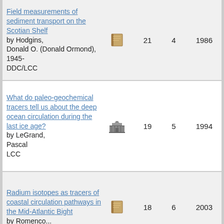Field measurements of sediment transport on the Scotian Shelf by Hodgins, Donald O. (Donald Ormond), 1945- DDC/LCC | icon: book | 21 | 4 | 1986 | 1993
What do paleo-geochemical tracers tell us about the deep ocean circulation during the last ice age? by LeGrand, Pascal LCC | icon: building | 19 | 5 | 1994 | 1995
Radium isotopes as tracers of coastal circulation pathways in the Mid-Atlantic Bight by Romenco... | icon: book | 18 | 6 | 2003 | 2003